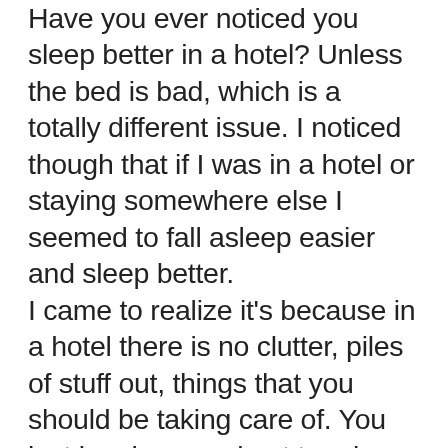Have you ever noticed you sleep better in a hotel? Unless the bed is bad, which is a totally different issue. I noticed though that if I was in a hotel or staying somewhere else I seemed to fall asleep easier and sleep better. I came to realize it's because in a hotel there is no clutter, piles of stuff out, things that you should be taking care of. You just lay down and get to relax. This wasn't happening at home and it was making going to sleep harder. So I make an effort to keep my nightstand cleared off especially. Also to try and stay on top of laundry, which I hate doing. That way things are clear by my bed and I don't see all this laundry that I should get to. I'm not perfect at it but I know that when I do these things I sleep better with